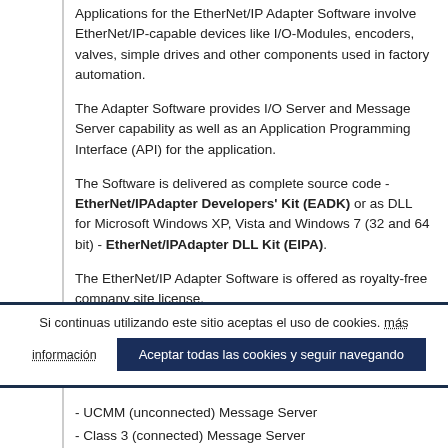Applications for the EtherNet/IP Adapter Software involve EtherNet/IP-capable devices like I/O-Modules, encoders, valves, simple drives and other components used in factory automation.
The Adapter Software provides I/O Server and Message Server capability as well as an Application Programming Interface (API) for the application.
The Software is delivered as complete source code - EtherNet/IPAdapter Developers' Kit (EADK) or as DLL for Microsoft Windows XP, Vista and Windows 7 (32 and 64 bit) - EtherNet/IPAdapter DLL Kit (EIPA).
The EtherNet/IP Adapter Software is offered as royalty-free company site license.
Current Version 4.6.0 (Released February 2016) – Tested
Si continuas utilizando este sitio aceptas el uso de cookies. más información | Aceptar todas las cookies y seguir navegando
- UCMM (unconnected) Message Server
- Class 3 (connected) Message Server